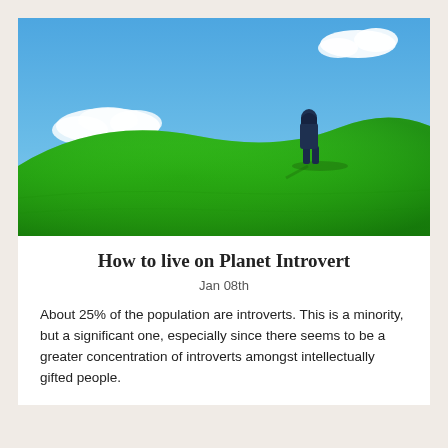[Figure (photo): A lone person standing on a rolling green grassy hill against a bright blue sky with white clouds. The figure is seen from behind, standing near the right side of the image on the crest of the hill.]
How to live on Planet Introvert
Jan 08th
About 25% of the population are introverts.  This is a minority, but a significant one, especially since there seems to be a greater concentration of introverts amongst intellectually gifted people.